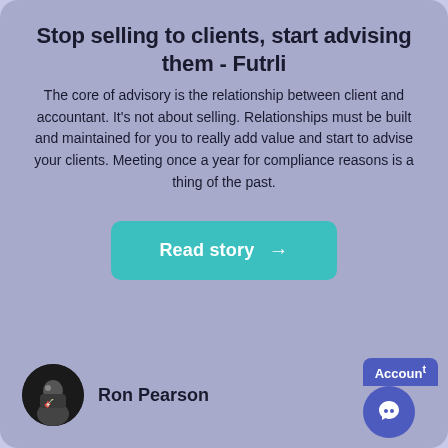Stop selling to clients, start advising them - Futrli
The core of advisory is the relationship between client and accountant. It's not about selling. Relationships must be built and maintained for you to really add value and start to advise your clients. Meeting once a year for compliance reasons is a thing of the past.
[Figure (other): Teal rounded rectangle button with white text 'Read story →']
[Figure (photo): Circular avatar photo of Ron Pearson, dark background with a person figure visible]
Ron Pearson
[Figure (other): Chat widget in bottom right corner with 'Accoun' label partially visible and a smiley/chat icon on purple background]